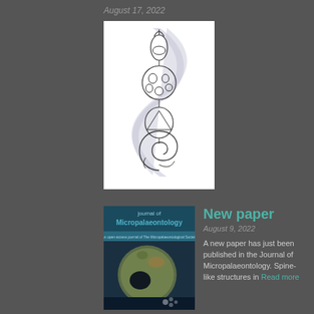August 17, 2022
[Figure (illustration): Scientific illustration of microfossil/microorganism shapes arranged vertically with an S-curve background: top has a spire/tower shape, then a spherical cell with pores, then a triangular/trefoil shape, then a spiral/coiled nautilus shape at the bottom]
[Figure (photo): Journal of Micropalaeontology cover showing a spherical fossilized microfossil specimen with a hole, photographed against a blue background. Cover text reads 'Journal of Micropalaeontology']
New paper
August 9, 2022
A new paper has just been published in the Journal of Micropalaeontology. Spine-like structures in Read more